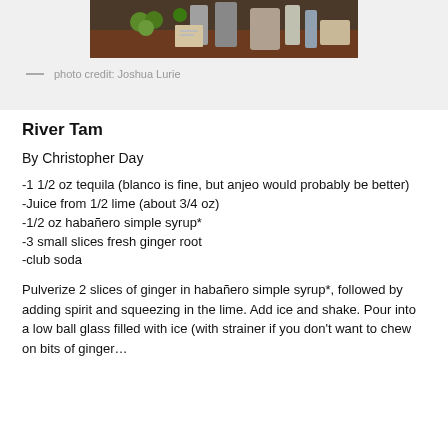[Figure (photo): Photo of bar setup with limes, bottles, and glassware on a dark table]
— photo credit: Joshua Lurie
River Tam
By Christopher Day
-1 1/2 oz tequila (blanco is fine, but anjeo would probably be better)
-Juice from 1/2 lime (about 3/4 oz)
-1/2 oz habañero simple syrup*
-3 small slices fresh ginger root
-club soda
Pulverize 2 slices of ginger in habañero simple syrup*, followed by adding spirit and squeezing in the lime. Add ice and shake. Pour into a low ball glass filled with ice (with strainer if you don't want to chew on bits of ginger…